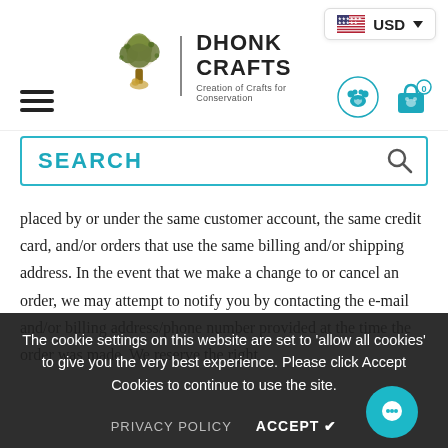[Figure (screenshot): Dhonk Crafts website header with logo, hamburger menu, currency selector (USD), paw icon, and shopping bag icon with 0 count]
[Figure (screenshot): Search bar with teal border and magnifying glass icon]
placed by or under the same customer account, the same credit card, and/or orders that use the same billing and/or shipping address. In the event that we make a change to or cancel an order, we may attempt to notify you by contacting the e-mail and/or billing address/phone number provided at the time the order was made. We reserve the right to limit or prohibit orders that, in our sole judgment, appear to be placed by dealers, resellers, or distributors.

You agree to provide current, complete, and accurate purchase and account information. You agree to
The cookie settings on this website are set to 'allow all cookies' to give you the very best experience. Please click Accept Cookies to continue to use the site.
PRIVACY POLICY   ACCEPT ✔